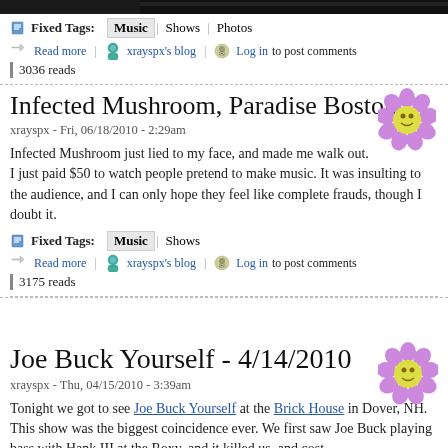[Figure (photo): Dark banner image at top of page]
Fixed Tags: Music | Shows | Photos
Read more | xrayspx's blog | Log in to post comments | 3036 reads
Infected Mushroom, Paradise Boston
xrayspx - Fri, 06/18/2010 - 2:29am
Infected Mushroom just lied to my face, and made me walk out. I just paid $50 to watch people pretend to make music. It was insulting to the audience, and I can only hope they feel like complete frauds, though I doubt it.
Fixed Tags: Music | Shows
Read more | xrayspx's blog | Log in to post comments | 3175 reads
Joe Buck Yourself - 4/14/2010
xrayspx - Thu, 04/15/2010 - 3:39am
Tonight we got to see Joe Buck Yourself at the Brick House in Dover, NH. This show was the biggest coincidence ever. We first saw Joe Buck playing bass with Hank III at the Roxy, and it killed us, and cost